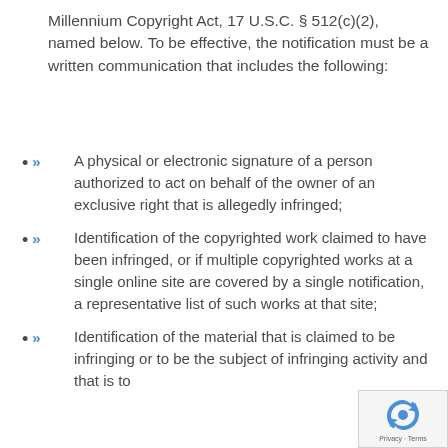Millennium Copyright Act, 17 U.S.C. § 512(c)(2), named below. To be effective, the notification must be a written communication that includes the following:
A physical or electronic signature of a person authorized to act on behalf of the owner of an exclusive right that is allegedly infringed;
Identification of the copyrighted work claimed to have been infringed, or if multiple copyrighted works at a single online site are covered by a single notification, a representative list of such works at that site;
Identification of the material that is claimed to be infringing or to be the subject of infringing activity and that is to